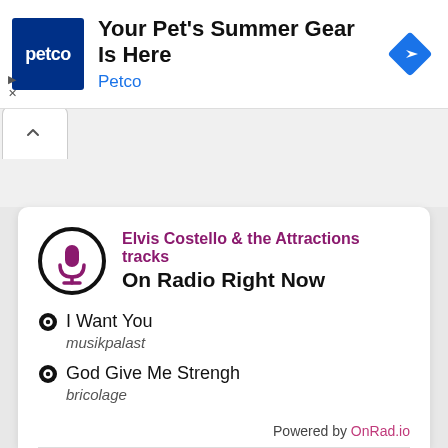[Figure (other): Petco advertisement banner with Petco logo (dark blue square with 'petco' text), headline 'Your Pet's Summer Gear Is Here', brand name 'Petco' in blue, and a blue navigation diamond icon on the right. Ad controls (play and close symbols) on bottom left.]
Elvis Costello & the Attractions tracks On Radio Right Now
I Want You
musikpalast
God Give Me Strengh
bricolage
Powered by OnRad.io